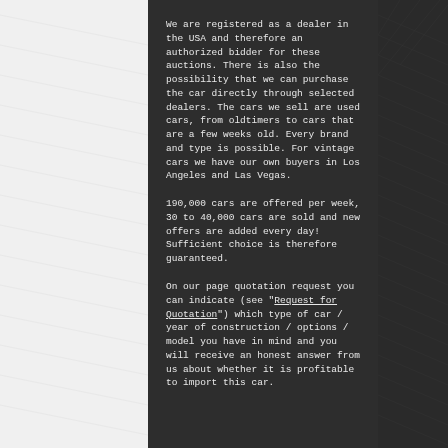We are registered as a dealer in the USA and therefore an authorized bidder for these auctions. There is also the possibility that we can purchase the car directly through selected dealers. The cars we sell are used cars, from oldtimers to cars that are a few weeks old. Every brand and type is possible. For vintage cars we have our own buyers in Los Angeles and Las Vegas.
190,000 cars are offered per week, 30 to 40,000 cars are sold and new offers are added every day! Sufficient choice is therefore guaranteed.
On our page quotation request you can indicate (see "Request for Quotation") which type of car / year of construction / options / model you have in mind and you will receive an honest answer from us about whether it is profitable to import this car.